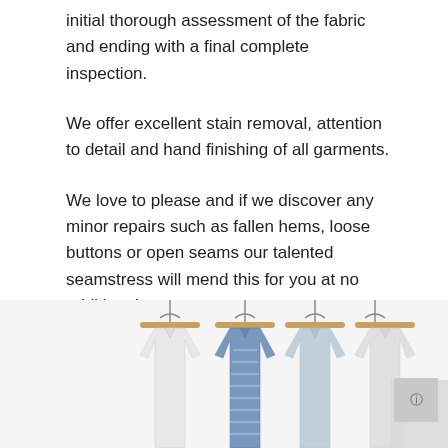initial thorough assessment of the fabric and ending with a final complete inspection.
We offer excellent stain removal, attention to detail and hand finishing of all garments.
We love to please and if we discover any minor repairs such as fallen hems, loose buttons or open seams our talented seamstress will mend this for you at no additional cost.
“EXTRA SERVICE JUST FOR YOU”
[Figure (photo): Photo of multiple shirts hanging on wooden hangers in a row, predominantly white and light blue colors]